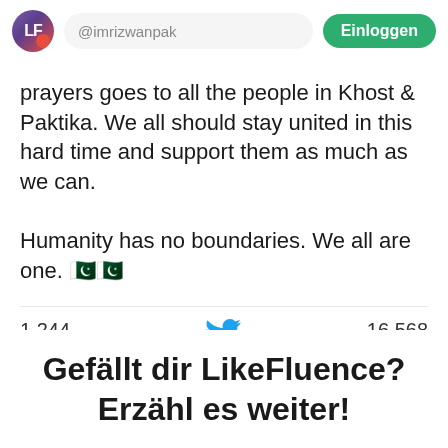@imrizwanpak  Einloggen
prayers goes to all the people in Khost & Paktika. We all should stay united in this hard time and support them as much as we can.

Humanity has no boundaries. We all are one. 🇵🇰🇵🇰
1.244 RETWEETS   16.568 FAVORITEN
Gefällt dir LikeFluence? Erzähl es weiter!